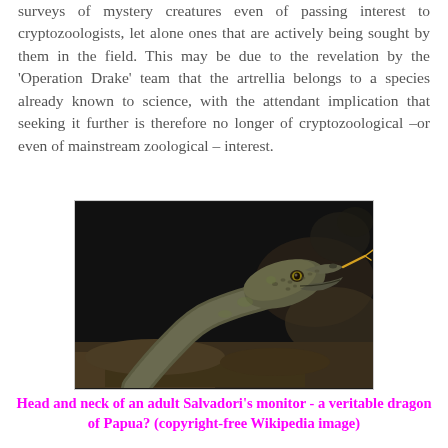surveys of mystery creatures even of passing interest to cryptozoologists, let alone ones that are actively being sought by them in the field. This may be due to the revelation by the 'Operation Drake' team that the artrellia belongs to a species already known to science, with the attendant implication that seeking it further is therefore no longer of cryptozoological –or even of mainstream zoological – interest.
[Figure (photo): Close-up photo of the head and neck of an adult Salvadori's monitor lizard (Varanus salvadorii), showing textured scaly skin in grey-green tones, a forked tongue extended, and a dark rocky background.]
Head and neck of an adult Salvadori's monitor - a veritable dragon of Papua? (copyright-free Wikipedia image)